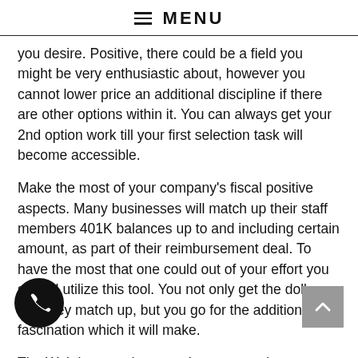≡ MENU
you desire. Positive, there could be a field you might be very enthusiastic about, however you cannot lower price an additional discipline if there are other options within it. You can always get your 2nd option work till your first selection task will become accessible.
Make the most of your company's fiscal positive aspects. Many businesses will match up their staff members 401K balances up to and including certain amount, as part of their reimbursement deal. To have the most that one could out of your effort you should utilize this tool. You not only get the dollars that they match up, but you go for the additional fascination which it will make.
The Web is a good source, but you need to quest for a career in places at the same time. Social media sites can sometimes assist, however the best approach would be to